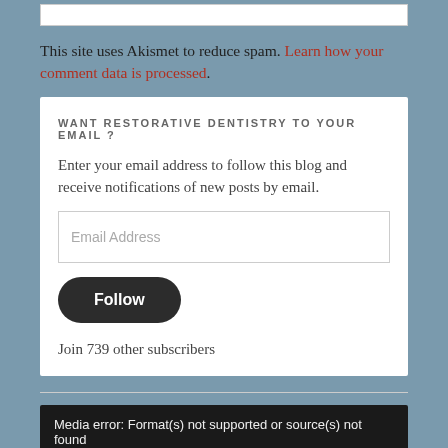This site uses Akismet to reduce spam. Learn how your comment data is processed.
WANT RESTORATIVE DENTISTRY TO YOUR EMAIL ?
Enter your email address to follow this blog and receive notifications of new posts by email.
Follow
Join 739 other subscribers
Media error: Format(s) not supported or source(s) not found
Download File:
https://restorativedentistblog.files.wordpress.com/2017/10/bb4c8a08-5954-40d7-953d-035e2e46ba3a.mp4?_=1